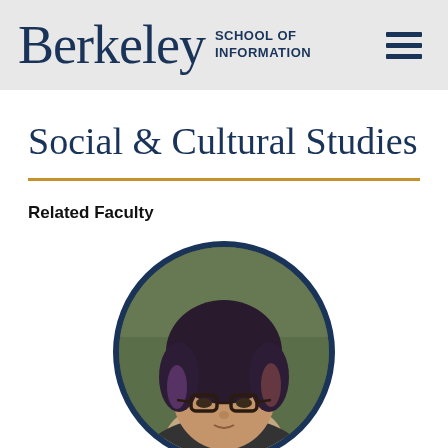Berkeley School of Information
Social & Cultural Studies
Related Faculty
[Figure (photo): Circular portrait photo of a woman with curly dark hair with purple highlights, wearing dark-framed glasses, outdoors with greenery in background. Photo is clipped in a circle with dark navy border.]